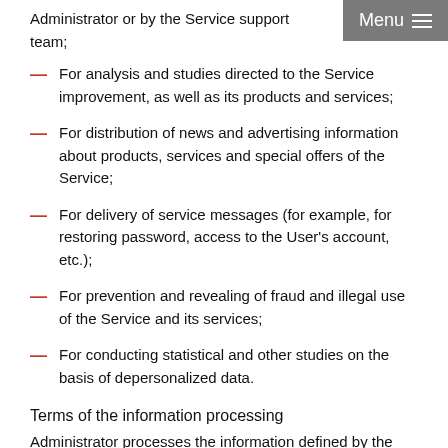Administrator or by the Service support team;
For analysis and studies directed to the Service improvement, as well as its products and services;
For distribution of news and advertising information about products, services and special offers of the Service;
For delivery of service messages (for example, for restoring password, access to the User's account, etc.);
For prevention and revealing of fraud and illegal use of the Service and its services;
For conducting statistical and other studies on the basis of depersonalized data.
Terms of the information processing
Administrator processes the information defined by the terms of